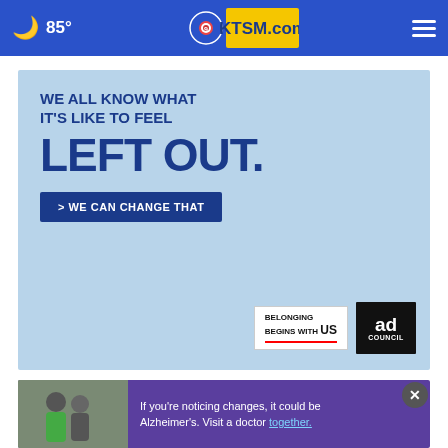🌙 85° | KTSM.com | ☰
[Figure (infographic): Ad banner: light blue background. Large bold text: 'WE ALL KNOW WHAT IT'S LIKE TO FEEL LEFT OUT.' with a dark blue button '> WE CAN CHANGE THAT'. Bottom right logos: 'BELONGING BEGINS WITH US' and 'ad council'.]
[Figure (photo): Purple banner ad with two men hugging. Text: 'If you're noticing changes, it could be Alzheimer's. Visit a doctor together.' with a close X button.]